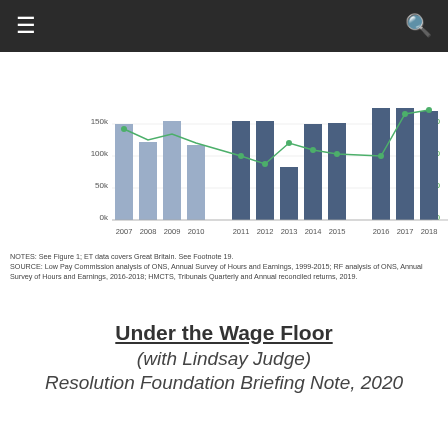[Figure (grouped-bar-chart): Bar chart with blue/grey bars showing values around 150k for years 2007-2018, with a green line overlay showing a secondary axis 0-300. Years shown: 2007,2008,2009,2010,2011,2012,2013,2014,2015,2016,2017,2018. Left axis labels: 0k, 50k, 100k, 150k. Right axis: 0, 100, 200, 300.]
NOTES: See Figure 1; ET data covers Great Britain. See Footnote 19.
SOURCE: Low Pay Commission analysis of ONS, Annual Survey of Hours and Earnings, 1999-2015; RF analysis of ONS, Annual Survey of Hours and Earnings, 2016-2018; HMCTS, Tribunals Quarterly and Annual reconciled returns, 2019.
Under the Wage Floor
(with Lindsay Judge)
Resolution Foundation Briefing Note, 2020
[Figure (line-chart): Multi-line chart with black solid line, blue dashed line, and green dashed line. Y-axis labeled '1-year moving average' with values 0.02 and 0.04 visible. Lines show fluctuating trends.]